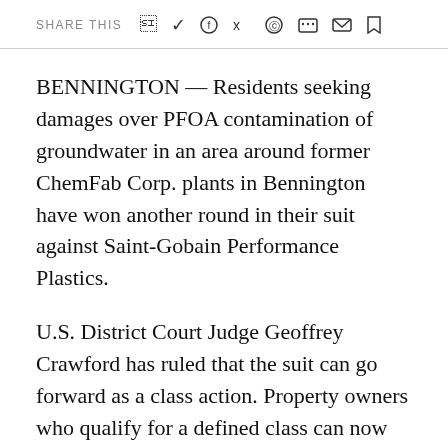SHARE THIS
BENNINGTON — Residents seeking damages over PFOA contamination of groundwater in an area around former ChemFab Corp. plants in Bennington have won another round in their suit against Saint-Gobain Performance Plastics.
U.S. District Court Judge Geoffrey Crawford has ruled that the suit can go forward as a class action. Property owners who qualify for a defined class can now join together, rather than try to take on the international firm in individual suits.